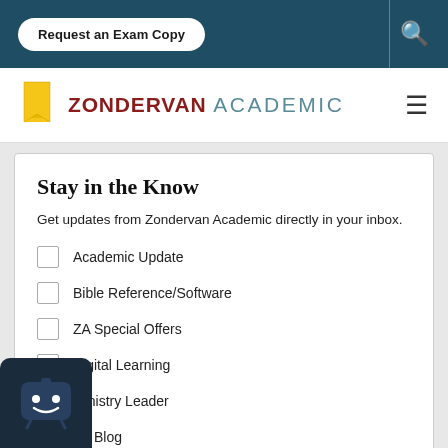Request an Exam Copy
[Figure (logo): Zondervan Academic logo with yellow book icon, 'ZONDERVAN' in dark red and 'ACADEMIC' in teal/blue-grey]
Stay in the Know
Get updates from Zondervan Academic directly in your inbox.
Academic Update
Bible Reference/Software
ZA Special Offers
Digital Learning
Ministry Leader
ZA Blog